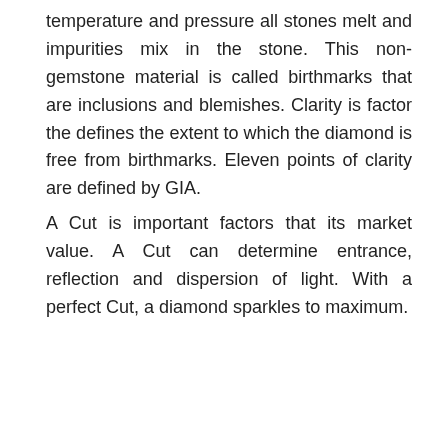temperature and pressure all stones melt and impurities mix in the stone. This non-gemstone material is called birthmarks that are inclusions and blemishes. Clarity is factor the defines the extent to which the diamond is free from birthmarks. Eleven points of clarity are defined by GIA.
A Cut is important factors that its market value. A Cut can determine entrance, reflection and dispersion of light. With a perfect Cut, a diamond sparkles to maximum.